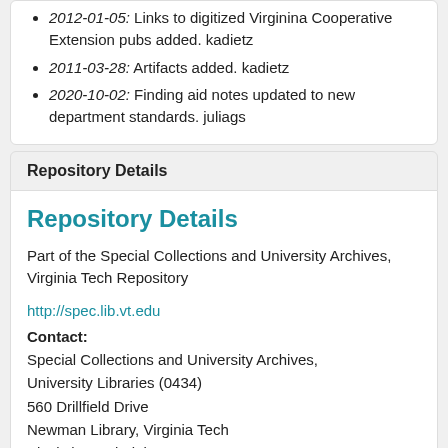2012-01-05: Links to digitized Virginina Cooperative Extension pubs added. kadietz
2011-03-28: Artifacts added. kadietz
2020-10-02: Finding aid notes updated to new department standards. juliags
Repository Details
Repository Details
Part of the Special Collections and University Archives, Virginia Tech Repository
http://spec.lib.vt.edu
Contact: Special Collections and University Archives, University Libraries (0434) 560 Drillfield Drive Newman Library, Virginia Tech Blacksburg Virginia 24061 US ☎ 540-231-6308